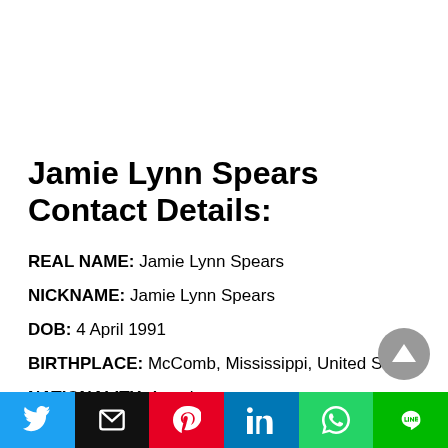Jamie Lynn Spears Contact Details:
REAL NAME: Jamie Lynn Spears
NICKNAME: Jamie Lynn Spears
DOB: 4 April 1991
BIRTHPLACE: McComb, Mississippi, United States
NATIONALITY: American
BIRTH SIGN: Aries
[Figure (other): Grey circular scroll-to-top button with upward triangle arrow]
Social share buttons: Twitter, Email, Pinterest, LinkedIn, WhatsApp, LINE